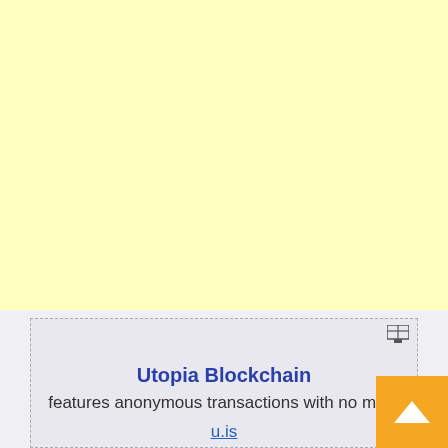[Figure (other): Large pale yellow background area filling the top ~70% of the page]
Utopia Blockchain
features anonymous transactions with no meta
u.is